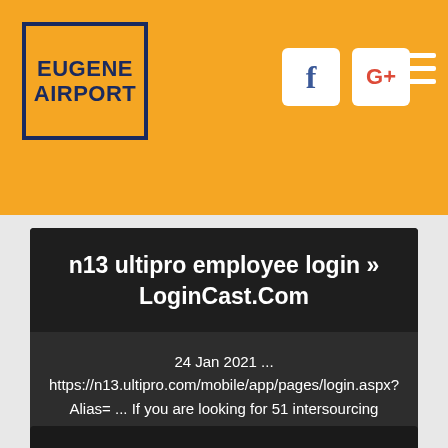Eugene Airport
n13 ultipro employee login » LoginCast.Com
24 Jan 2021 ... https://n13.ultipro.com/mobile/app/pages/login.aspx?Alias= ... If you are looking for 51 intersourcing ultipro login, then you are in the right place.
CHECK THIS